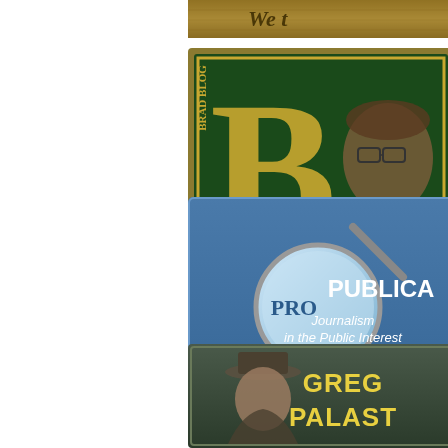[Figure (logo): Partial view of a 'We the People' Constitution-themed banner/logo, cropped at top]
[Figure (logo): Brad Blog logo — large green letter B with 'BRAD BLOG' text and a man with glasses]
[Figure (logo): ProPublica logo — magnifying glass icon with 'PRO PUBLICA Journalism in the Public Interest Tools & Data' on blue background]
[Figure (logo): Greg Palast logo — illustrated portrait of a man in a hat with bold text 'GREG PALAST' on dark background]